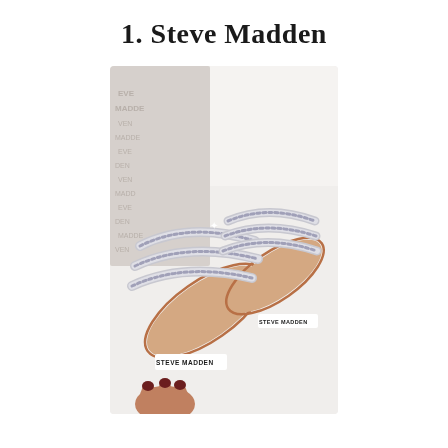1. Steve Madden
[Figure (photo): A pair of Steve Madden rhinestone-studded flat sandals with multiple strappy crystal-embellished bands across the toe and vamp, placed on a white surface. The sandals have rose gold/copper edging and beige insoles with 'STEVE MADDEN' brand labels. A hand with dark red nail polish is visible holding one sandal at the bottom of the image. A Steve Madden branded shopping bag is partially visible in the background.]